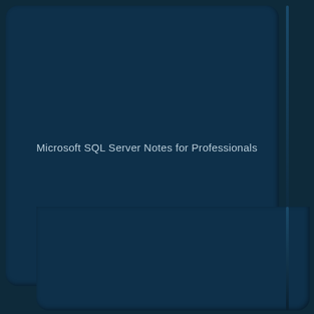[Figure (illustration): Book cover design with dark navy blue background featuring two overlapping rounded rectangle panels arranged in a stacked offset layout, creating a three-dimensional book-like appearance. The panels are a slightly lighter navy blue than the background with subtle shadow and highlight effects.]
Microsoft SQL Server Notes for Professionals